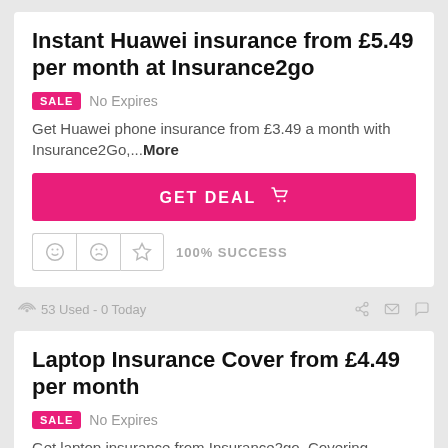Instant Huawei insurance from £5.49 per month at Insurance2go
SALE   No Expires
Get Huawei phone insurance from £3.49 a month with Insurance2Go,...More
GET DEAL
100% SUCCESS
53 Used - 0 Today
Laptop Insurance Cover from £4.49 per month
SALE   No Expires
Get laptop insurance from Insurance2go. Covering laptops from the Microsoft...More
GET DEAL